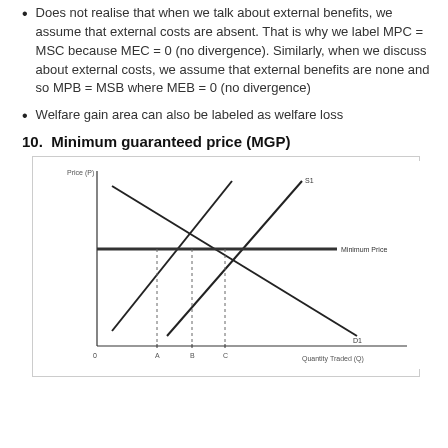Does not realise that when we talk about external benefits, we assume that external costs are absent. That is why we label MPC = MSC because MEC = 0 (no divergence). Similarly, when we discuss about external costs, we assume that external benefits are none and so MPB = MSB where MEB = 0 (no divergence)
Welfare gain area can also be labeled as welfare loss
10.  Minimum guaranteed price (MGP)
[Figure (other): Supply and demand diagram showing Minimum Guaranteed Price (MGP). Two supply curves (S and S1) cross a demand curve (D1). A horizontal line labeled Minimum Price intersects the curves. The x-axis shows Quantity Traded (Q) with points 0, A, B, C marked. The y-axis shows Price (P). The diagram illustrates surplus at the minimum price.]